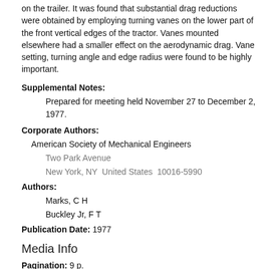on the trailer. It was found that substantial drag reductions were obtained by employing turning vanes on the lower part of the front vertical edges of the tractor. Vanes mounted elsewhere had a smaller effect on the aerodynamic drag. Vane setting, turning angle and edge radius were found to be highly important.
Supplemental Notes:
Prepared for meeting held November 27 to December 2, 1977.
Corporate Authors:
American Society of Mechanical Engineers
Two Park Avenue
New York, NY  United States  10016-5990
Authors:
Marks, C H
Buckley Jr, F T
Publication Date: 1977
Media Info
Pagination: 9 p.
Subject/Index Terms